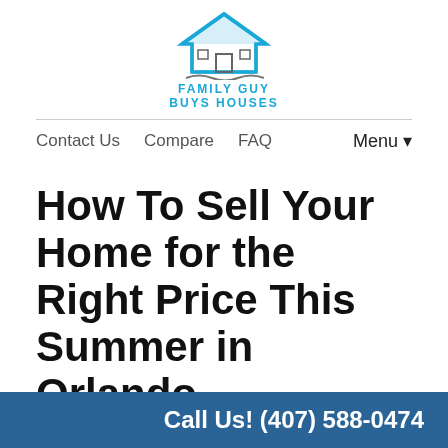[Figure (logo): Family Guy Buys Houses logo — house icon with blue roof and waves, company name in blue bold capitals]
Contact Us   Compare   FAQ   Menu ▼
How To Sell Your Home for the Right Price This Summer in Orlando
July 10, 2017
By Fred
Are you thinking about selling your house this summer? Of course, you want to get the right price for it, so make sure you read this blog...
Call Us! (407) 588-0474